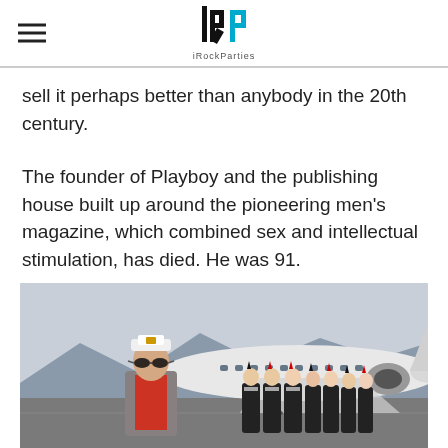iRockParties
sell it perhaps better than anybody in the 20th century.
The founder of Playboy and the publishing house built up around the pioneering men's magazine, which combined sex and intellectual stimulation, has died. He was 91.
[Figure (photo): An elderly man wearing a white captain's hat, sunglasses, a red shirt and grey blazer, standing on an airport tarmac in front of a large white private jet. Behind him to the right stands a line of women dressed in Playboy Bunny costumes (black outfits with red accents, bunny ears).]